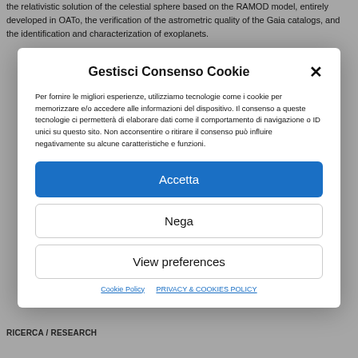the relativistic solution of the celestial sphere based on the RAMOD model, entirely developed in OATo, the verification of the astrometric quality of the Gaia catalogs, and the identification and characterization of exoplanets.
Gestisci Consenso Cookie
Per fornire le migliori esperienze, utilizziamo tecnologie come i cookie per memorizzare e/o accedere alle informazioni del dispositivo. Il consenso a queste tecnologie ci permetterà di elaborare dati come il comportamento di navigazione o ID unici su questo sito. Non acconsentire o ritirare il consenso può influire negativamente su alcune caratteristiche e funzioni.
Accetta
Nega
View preferences
Cookie Policy   PRIVACY & COOKIES POLICY
RICERCA / RESEARCH